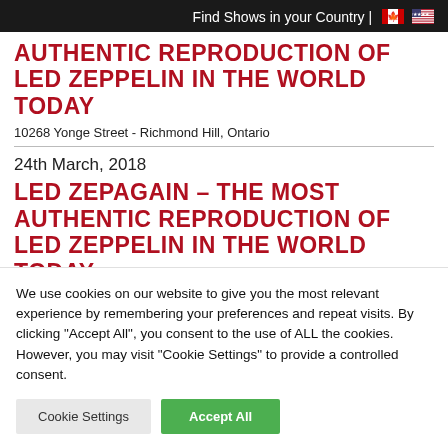Find Shows in your Country | 🇨🇦 🇺🇸
AUTHENTIC REPRODUCTION OF LED ZEPPELIN IN THE WORLD TODAY
10268 Yonge Street - Richmond Hill, Ontario
24th March, 2018
LED ZEPAGAIN – THE MOST AUTHENTIC REPRODUCTION OF LED ZEPPELIN IN THE WORLD TODAY
We use cookies on our website to give you the most relevant experience by remembering your preferences and repeat visits. By clicking "Accept All", you consent to the use of ALL the cookies. However, you may visit "Cookie Settings" to provide a controlled consent.